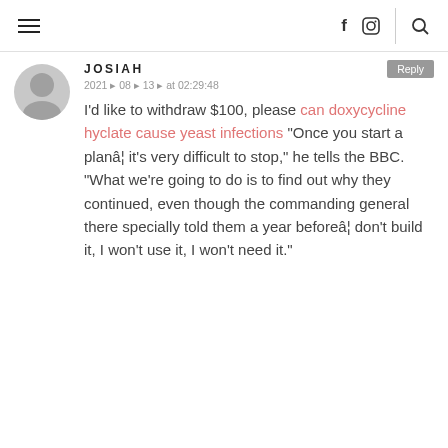Navigation bar with hamburger menu, social icons (f, camera), and search icon
JOSIAH
2021 ⊘ 08 ⊘ 13 ⊘ at 02:29:48
I'd like to withdraw $100, please can doxycycline hyclate cause yeast infections "Once you start a planâ¦ it's very difficult to stop," he tells the BBC. "What we're going to do is to find out why they continued, even though the commanding general there specially told them a year beforeâ¦ don't build it, I won't use it, I won't need it."